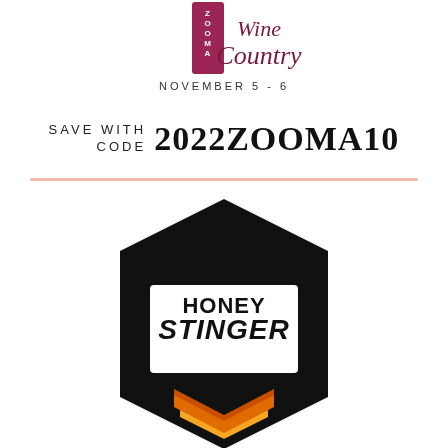[Figure (logo): ZOOMA Wine Country event logo with magenta/burgundy banner and cursive script text 'Wine Country', 'NOVEMBER 5 - 6' below]
SAVE WITH CODE  2022ZOOMA10
[Figure (logo): Honey Stinger Hive logo — black hexagonal badge shape with 'HONEY STINGER' text and 'HIVE' in white, orange/amber chevron chevrons at bottom]